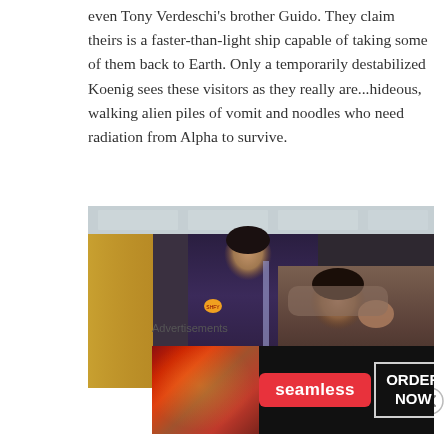even Tony Verdeschi's brother Guido. They claim theirs is a faster-than-light ship capable of taking some of them back to Earth. Only a temporarily destabilized Koenig sees these visitors as they really are...hideous, walking alien piles of vomit and noodles who need radiation from Alpha to survive.
[Figure (photo): A still from a science fiction TV show (Space: 1999) showing two men — one standing tall in a purple uniform with a badge, the other clutching his head in apparent distress. The background shows a futuristic white ceiling and a warm yellow wall.]
Advertisements
[Figure (photo): A Seamless food delivery advertisement banner showing pizza on a dark background with a red Seamless logo pill and an 'ORDER NOW' button in a white-bordered box.]